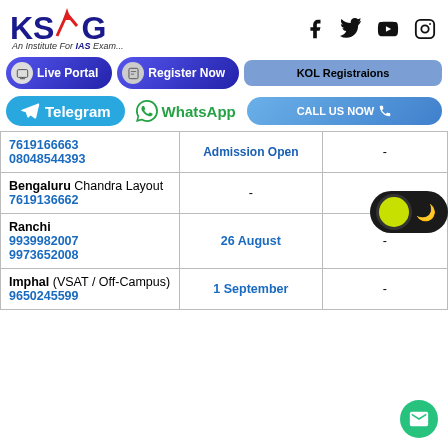[Figure (logo): KSG IAS Institute logo with red upward arrow and text 'An Institute For IAS Exam...']
[Figure (infographic): Social media icons: Facebook, Twitter, YouTube, Instagram]
[Figure (infographic): Navigation buttons: Live Portal, Register Now, KOL Registrations]
[Figure (infographic): Contact buttons: Telegram, WhatsApp, CALL US NOW]
| Location / Contact | Batch Start |  |
| --- | --- | --- |
| 7619166663 08048544393 | Admission Open | - |
| Bengaluru Chandra Layout 7619136662 | - | - |
| Ranchi 9939982007 9973652008 | 26 August | - |
| Imphal (VSAT / Off-Campus) 9650245599 | 1 September | - |